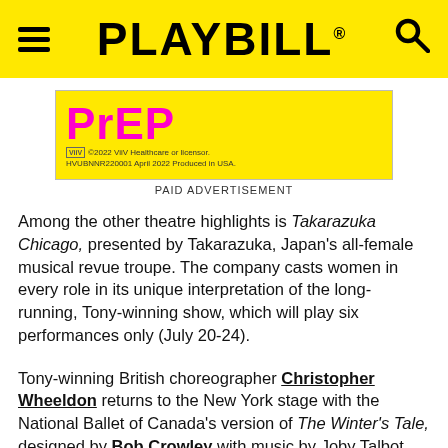PLAYBILL
[Figure (advertisement): PrEP advertisement on yellow background with ViiV Healthcare logo and fine print. Yellow rectangle ad with magenta PrEP logo text, copyright 2022 ViiV Healthcare or licensor, HVUBNNR220001 April 2022 Produced in USA.]
PAID ADVERTISEMENT
Among the other theatre highlights is Takarazuka Chicago, presented by Takarazuka, Japan's all-female musical revue troupe. The company casts women in every role in its unique interpretation of the long-running, Tony-winning show, which will play six performances only (July 20-24).
Tony-winning British choreographer Christopher Wheeldon returns to the New York stage with the National Ballet of Canada's version of The Winter's Tale, designed by Bob Crowley with music by Joby Talbot. The production features silk effects by Basil Twist, lighting design by Natasha Katz and projection design by Daniel Brodie. Performances will run July 28-31 at the David H. Koch